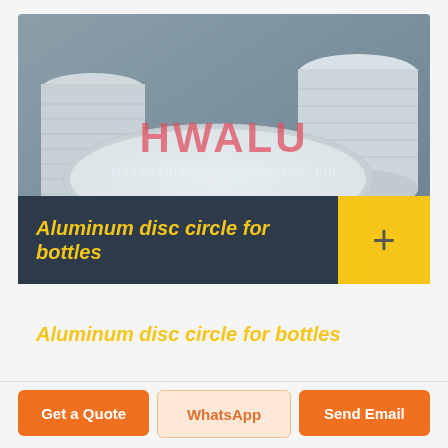[Figure (photo): Stacks of round aluminum disc circles for bottles, with HWALU / Henan Huawei Aluminum Co., Ltd watermark overlay on the photo]
Aluminum disc circle for bottles
Get a Quote
WhatsApp
Send Email